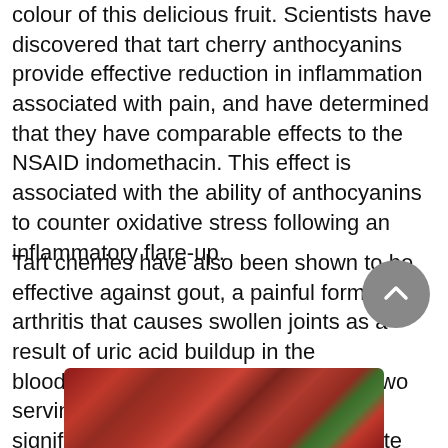colour of this delicious fruit. Scientists have discovered that tart cherry anthocyanins provide effective reduction in inflammation associated with pain, and have determined that they have comparable effects to the NSAID indomethacin. This effect is associated with the ability of anthocyanins to counter oxidative stress following an inflammatory flare-up.
Tart cherries have also been shown to be effective against gout, a painful form of arthritis that causes swollen joints as a result of uric acid buildup in the bloodstream. People who consumed two servings of tart cherries reported a significant reduction in their serum urate levels and a decline in inflammation, both of which are strongly associated with gout.
[Figure (photo): Close-up photograph of red tart cherries with stems]